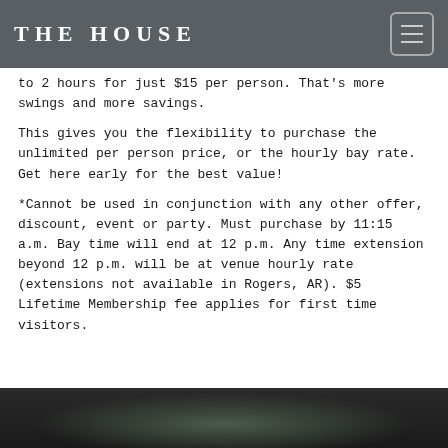THE HOUSE
to 2 hours for just $15 per person. That's more swings and more savings.
This gives you the flexibility to purchase the unlimited per person price, or the hourly bay rate. Get here early for the best value!
*Cannot be used in conjunction with any other offer, discount, event or party. Must purchase by 11:15 a.m. Bay time will end at 12 p.m. Any time extension beyond 12 p.m. will be at venue hourly rate (extensions not available in Rogers, AR). $5 Lifetime Membership fee applies for first time visitors.
[Figure (photo): Outdoor photo of a venue or landscape, partially visible at the bottom of the page]